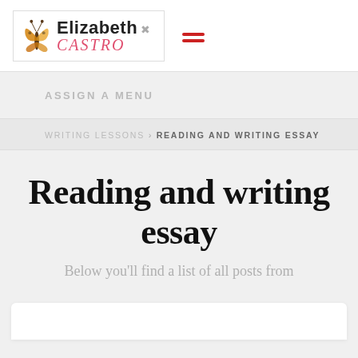[Figure (logo): Elizabeth Castro logo with butterfly illustration, 'Elizabeth' in bold black and 'CASTRO' in pink italic serif, with decorative swirl. Red hamburger menu icon to the right.]
ASSIGN A MENU
WRITING LESSONS > READING AND WRITING ESSAY
Reading and writing essay
Below you'll find a list of all posts from